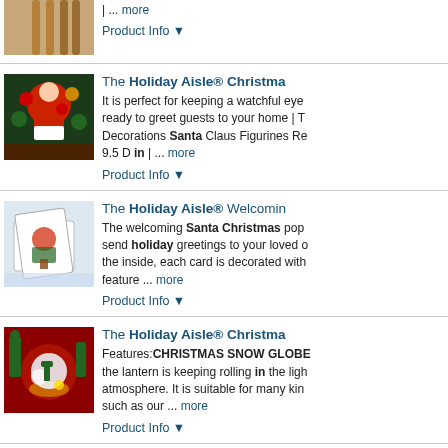[Figure (photo): Partial image of a reindeer figurine legs visible at top of page]
| ... more
Product Info ▼
[Figure (photo): Santa Claus figurine with Christmas tree and ornaments]
The Holiday Aisle® Christma...
It is perfect for keeping a watchful eye ready to greet guests to your home | T Decorations Santa Claus Figurines Re 9.5 D in | ... more
Product Info ▼
[Figure (photo): 3D popup Santa Christmas card with winter scene]
The Holiday Aisle® Welcomin...
The welcoming Santa Christmas pop send holiday greetings to your loved o the inside, each card is decorated with feature ... more
Product Info ▼
[Figure (photo): Christmas snow globe lantern with Santa and snowman, red background]
The Holiday Aisle® Christma...
Features:CHRISTMAS SNOW GLOBE the lantern is keeping rolling in the ligh atmosphere. It is suitable for many kin such as our ... more
Product Info ▼
[Figure (photo): Nordic gnome/tomte figurine with long beard and red hat]
The Holiday Aisle® Christma...
Features:Tomte or Gnome or Nisse, ac elderly, with a long beard. The Tomte is and children, particularly at night...